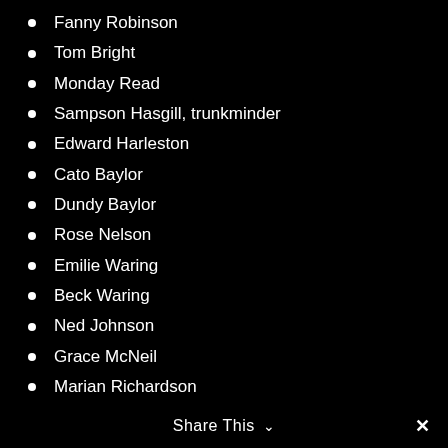Fanny Robinson
Tom Bright
Monday Read
Sampson Hasgill, trunkminder
Edward Harleston
Cato Baylor
Dundy Baylor
Rose Nelson
Emilie Waring
Beck Waring
Ned Johnson
Grace McNeil
Marian Richardson
Jospeh Hasgill
Bella Simons
Gordon Roudy
Louice Hamilton
Primrose Green
Sam Forham
Share This